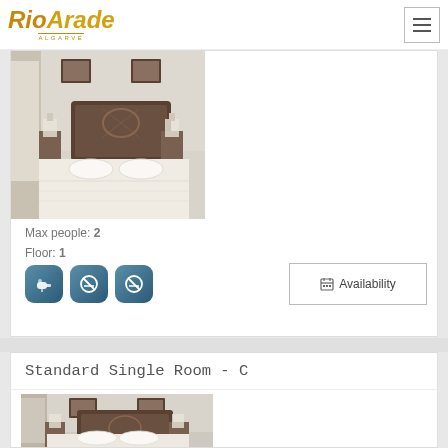Rio Arade Algarve
[Figure (photo): Hotel room photo showing a double bed with white linens, iron headboard, framed pictures on white wall]
Max people: 2
Floor: 1
[Figure (other): Amenity icons: hairdryer, no smoking, no smoking variant]
Availability
Standard Single Room - C
[Figure (photo): Hotel room photo showing a single bed with white linens, iron headboard, framed pictures on white wall]